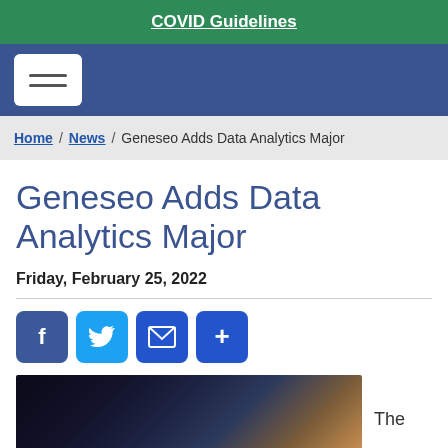COVID Guidelines
Home / News / Geneseo Adds Data Analytics Major
Geneseo Adds Data Analytics Major
Friday, February 25, 2022
[Figure (infographic): Social sharing icons: Facebook, Twitter, Email, More (+)]
[Figure (photo): Dark photo showing a student working on a laptop in a dimly lit setting, partial view of a person with brown hair]
The